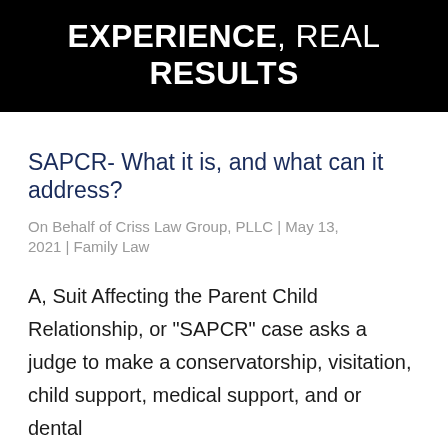EXPERIENCE, REAL RESULTS
SAPCR- What it is, and what can it address?
On Behalf of Criss Law Group, PLLC | May 13, 2021 | Family Law
A, Suit Affecting the Parent Child Relationship, or "SAPCR" case asks a judge to make a conservatorship, visitation, child support, medical support, and or dental